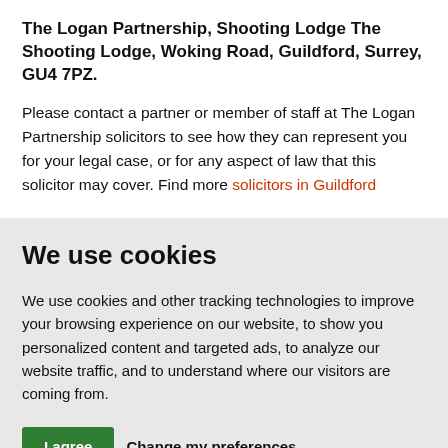The Logan Partnership, Shooting Lodge The Shooting Lodge, Woking Road, Guildford, Surrey, GU4 7PZ.
Please contact a partner or member of staff at The Logan Partnership solicitors to see how they can represent you for your legal case, or for any aspect of law that this solicitor may cover. Find more solicitors in Guildford
We use cookies
We use cookies and other tracking technologies to improve your browsing experience on our website, to show you personalized content and targeted ads, to analyze our website traffic, and to understand where our visitors are coming from.